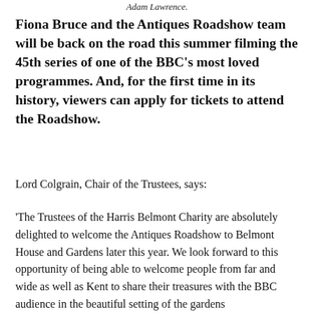Adam Lawrence.
Fiona Bruce and the Antiques Roadshow team will be back on the road this summer filming the 45th series of one of the BBC's most loved programmes. And, for the first time in its history, viewers can apply for tickets to attend the Roadshow.
Lord Colgrain, Chair of the Trustees, says:
'The Trustees of the Harris Belmont Charity are absolutely delighted to welcome the Antiques Roadshow to Belmont House and Gardens later this year. We look forward to this opportunity of being able to welcome people from far and wide as well as Kent to share their treasures with the BBC audience in the beautiful setting of the gardens